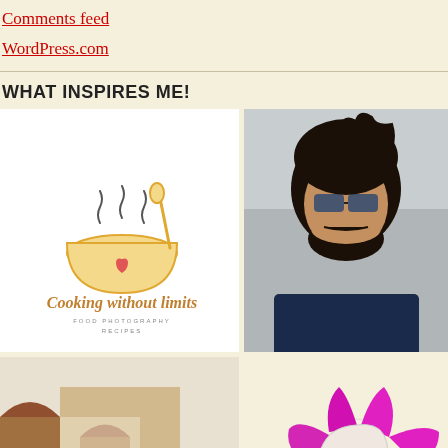Comments feed
WordPress.com
WHAT INSPIRES ME!
[Figure (logo): Cooking without limits logo - bowl with steam and spoon, heart inside bowl, cursive text 'Cooking without limits', small text 'FOOD PHOTOGRAPHY RECIPES']
[Figure (photo): Young man with beard and sunglasses wearing dark blue t-shirt, selfie outdoors against stone wall background]
[Figure (photo): Woman viewed from behind standing under stone arches of historic building, warm brick/sandstone architecture]
[Figure (illustration): Stylized illustration of a woman's face profile with large pink/magenta flower petals as headpiece, green stem, cartoon style]